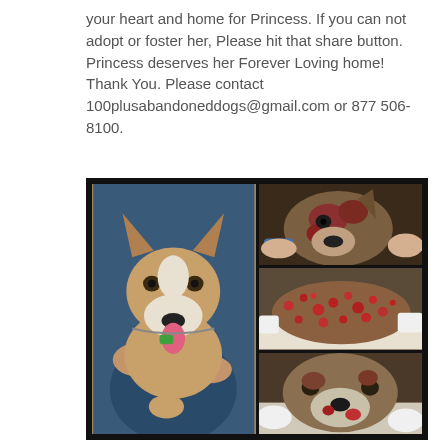your heart and home for Princess. If you can not adopt or foster her, Please hit that share button. Princess deserves her Forever Loving home! Thank You. Please contact 100plusabandoneddogs@gmail.com or 877 506-8100.
[Figure (photo): A collage of four photos of a dog named Princess. The large left photo shows a smiling brown and white pit bull type dog being held by a person in a blue shirt, with a green tag on its collar. The top right photo shows the dog's face with severe skin wounds/mange. The middle right photo shows the dog's body with severe skin lesions. The bottom right photo shows the dog's face, also injured, being held by someone in medical gloves.]